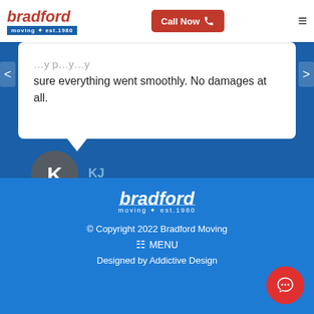[Figure (logo): Bradford Moving est. 1980 logo with red italic text and blue banner]
Call Now
sure everything went smoothly. No damages at all.
KJ
[Figure (logo): Bradford Moving est. 1980 footer logo in white]
© Copyright 2022 Bradford Moving
MENU
Designed by Addictive Design